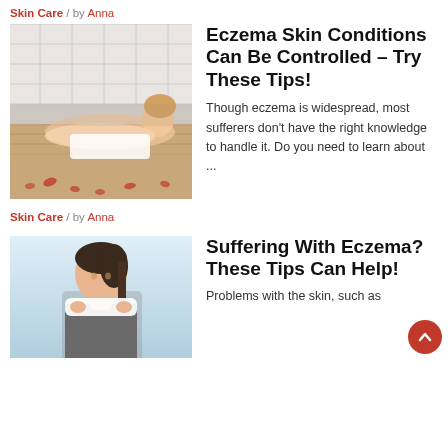Skin Care / by Anna
[Figure (photo): Woman lying down with white towels and rose petals, spa setting]
Eczema Skin Conditions Can Be Controlled – Try These Tips!
Though eczema is widespread, most sufferers don't have the right knowledge to handle it. Do you need to learn about ...
Skin Care / by Anna
[Figure (photo): Woman with dark hair holding a white towel around her neck, fitness/health setting]
Suffering With Eczema? These Tips Can Help!
Problems with the skin, such as